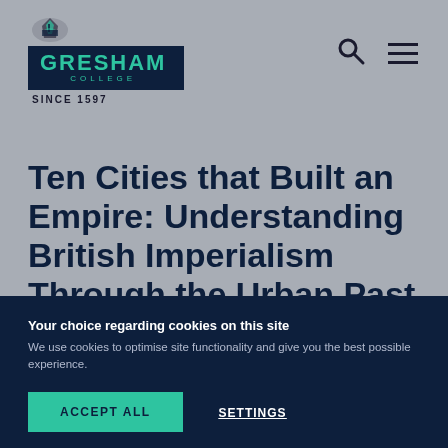[Figure (logo): Gresham College logo with crest emblem, dark navy background, teal text reading GRESHAM COLLEGE, and text SINCE 1597 below]
Ten Cities that Built an Empire: Understanding British Imperialism Through the Urban Past
Your choice regarding cookies on this site
We use cookies to optimise site functionality and give you the best possible experience.
ACCEPT ALL
SETTINGS